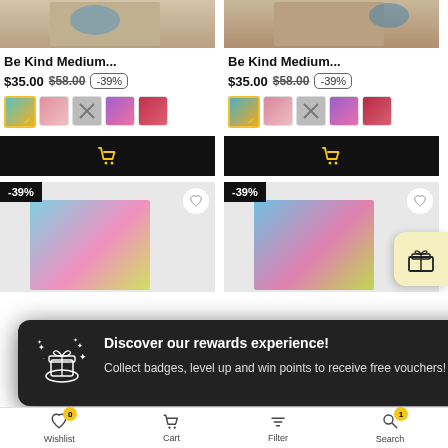[Figure (screenshot): Two product listing cards for 'Be Kind Medium...' bags shown at top, each with product image, title, price ($35.00, was $58.00, -39%), color swatches, and add-to-cart button. Below are two more product cards with -39% tags. A dark rewards popup overlays the bottom half. Gift icon floating button on right. Bottom navigation bar with Wishlist (0 badge), Cart, Filter, Search (1 badge).]